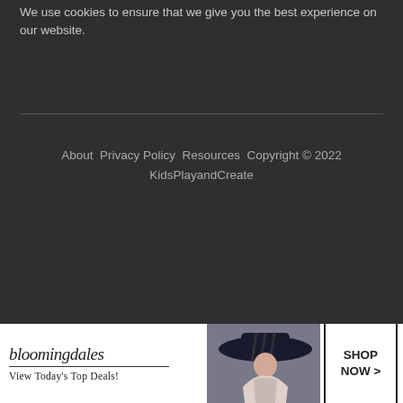We use cookies to ensure that we give you the best experience on our website.
About Privacy Policy Resources Copyright © 2022 KidsPlayandCreate
[Figure (infographic): Bloomingdale's advertisement banner with logo, 'View Today's Top Deals!' tagline, woman wearing large hat, and 'SHOP NOW >' button]